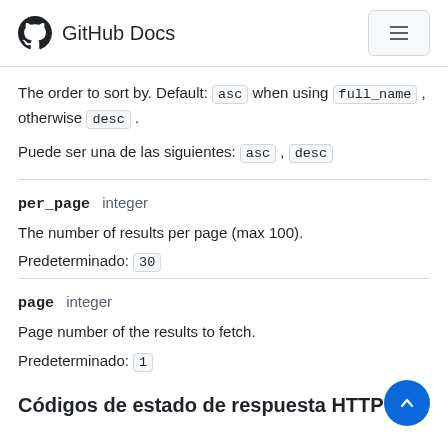GitHub Docs
The order to sort by. Default: asc when using full_name , otherwise desc .
Puede ser una de las siguientes: asc , desc
per_page  integer
The number of results per page (max 100).
Predeterminado:  30
page  integer
Page number of the results to fetch.
Predeterminado:  1
Códigos de estado de respuesta HTTP